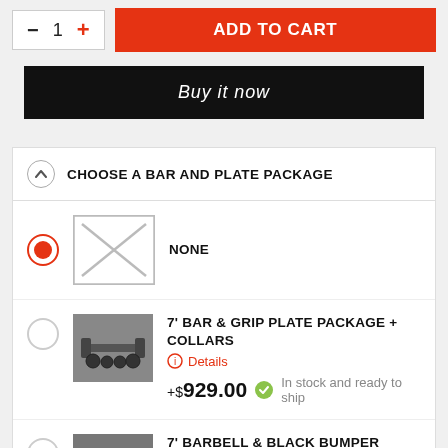— 1 + ADD TO CART
Buy it now
CHOOSE A BAR AND PLATE PACKAGE
NONE
7' BAR & GRIP PLATE PACKAGE + COLLARS — Details — +$929.00 — In stock and ready to ship
7' BARBELL & BLACK BUMPER PLATE PACKAGE